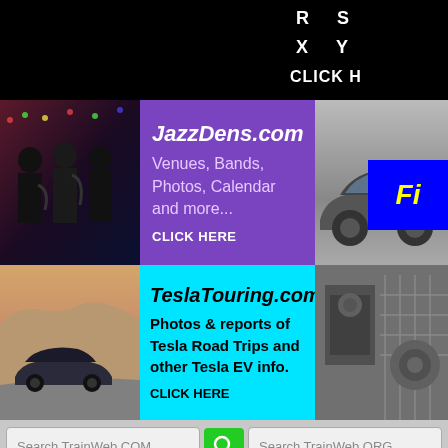R  S
X  Y
CLICK H
[Figure (photo): Jazz musicians playing instruments, dark background]
[Figure (other): JazzDens.com advertisement - purple background, Venues, Bands, Photos, Calendar and more... CLICK HERE]
[Figure (photo): Car photo with blue box overlay showing 'Fi' in yellow]
[Figure (photo): Tesla car on road with mountain backdrop]
[Figure (other): TeslaTouring.com advertisement - cyan background, Photos & reports of Tesla Road Trips and other Tesla EV info. CLICK HERE]
[Figure (photo): Train or industrial machinery photo]
Search TrainWeb.COM
Search TrainWeb.ORG
HOME
.COM
.ORG
.US
Latest Reports
Featured Today
FREE e-Newsl
About Us | Contact Us | Advert
2,297,552 View Stats  | Page updated: 08/11/9
Please help support this website by becom